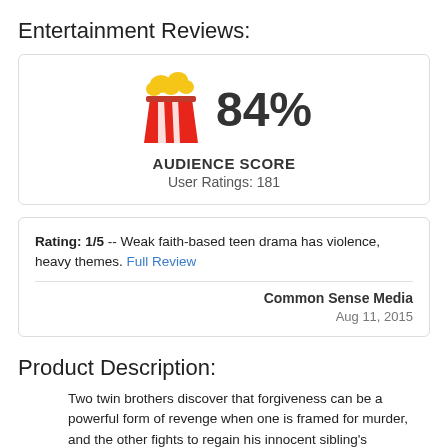Entertainment Reviews:
[Figure (infographic): Rotten Tomatoes popcorn bucket icon with 84% Audience Score and User Ratings: 181]
Rating: 1/5 -- Weak faith-based teen drama has violence, heavy themes. Full Review
Common Sense Media
Aug 11, 2015
Product Description:
Two twin brothers discover that forgiveness can be a powerful form of revenge when one is framed for murder, and the other fights to regain his innocent sibling's freedom. High school seniors Pete and Maggie were planning to get married when Maggie is accused...